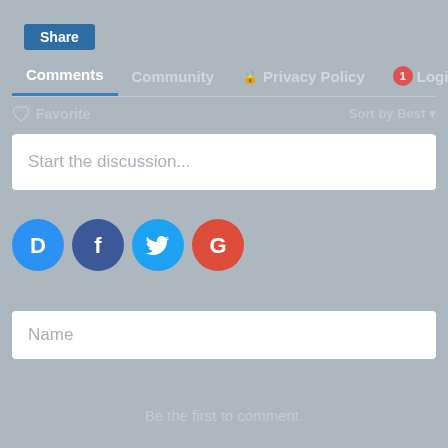[Figure (screenshot): Share button - blue rounded rectangle with white text 'Share']
Comments | Community | Privacy Policy | 1 | Login
Favorite | Sort by Best
Start the discussion...
LOG IN WITH
[Figure (infographic): Social login icons: Disqus (blue circle with D), Facebook (dark blue circle with F), Twitter (light blue circle with bird), Google (red circle with G)]
OR SIGN UP WITH DISQUS ?
Name
Be the first to comment.